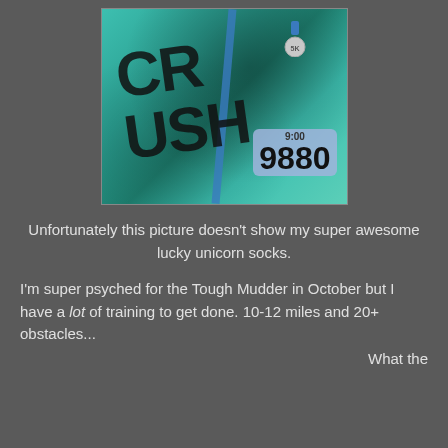[Figure (photo): Close-up photo of a person wearing a teal shirt with 'CRUSH' text and race bib number 9880, with a blue lanyard and race medal visible]
Unfortunately this picture doesn't show my super awesome lucky unicorn socks.
I'm super psyched for the Tough Mudder in October but I have a lot of training to get done. 10-12 miles and 20+ obstacles...
What the